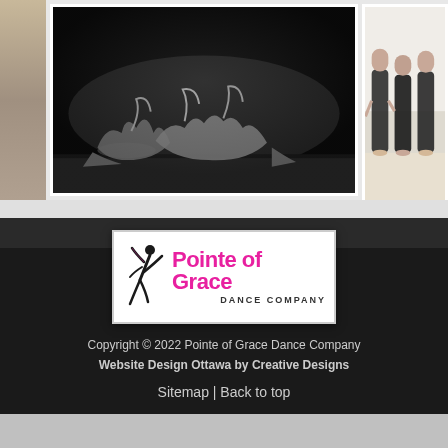[Figure (photo): Left partial photo of a dance studio with wooden floor and barre]
[Figure (photo): Black and white photo of a group of dancers on stage, bent backwards in a dramatic pose on the floor]
[Figure (photo): Color photo of young female dancers in black leotards standing in a bright studio, viewed from behind]
[Figure (logo): Pointe of Grace Dance Company logo with a silhouette of a dancer and pink text]
Copyright © 2022 Pointe of Grace Dance Company
Website Design Ottawa by Creative Designs
Sitemap | Back to top